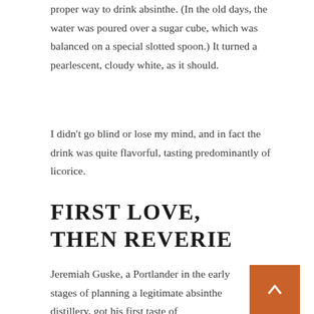proper way to drink absinthe. (In the old days, the water was poured over a sugar cube, which was balanced on a special slotted spoon.) It turned a pearlescent, cloudy white, as it should.
I didn't go blind or lose my mind, and in fact the drink was quite flavorful, tasting predominantly of licorice.
First love, then reverie
Jeremiah Guske, a Portlander in the early stages of planning a legitimate absinthe distillery, got his first taste of